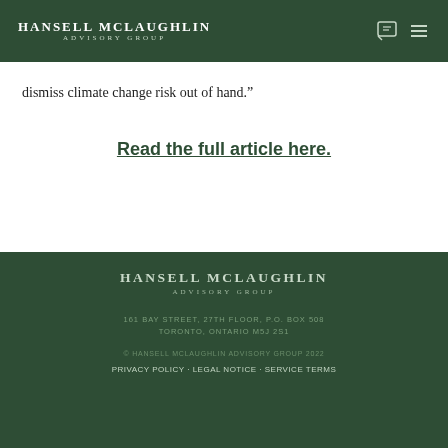HANSELL McLAUGHLIN ADVISORY GROUP
dismiss climate change risk out of hand.”
Read the full article here.
[Figure (logo): Hansell McLaughlin Advisory Group logo in white on dark green footer background]
161 BAY STREET, 27TH FLOOR, P.O. BOX 508
TORONTO, ONTARIO M5J 2S1
© HANSELL MCLAUGHLIN ADVISORY GROUP 2022
PRIVACY POLICY · LEGAL NOTICE · SERVICE TERMS